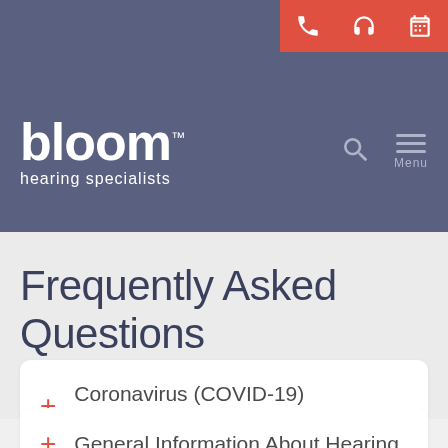bloom hearing specialists
Frequently Asked Questions
+ Coronavirus (COVID-19) Information
+ General Information About Hearing